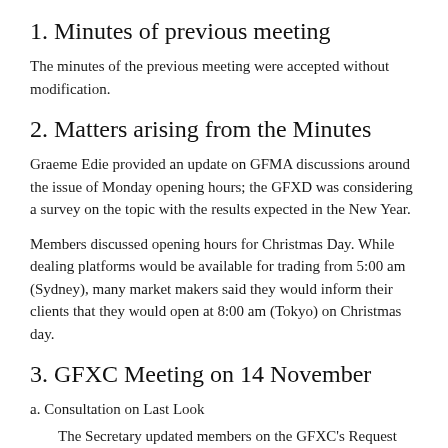1. Minutes of previous meeting
The minutes of the previous meeting were accepted without modification.
2. Matters arising from the Minutes
Graeme Edie provided an update on GFMA discussions around the issue of Monday opening hours; the GFXD was considering a survey on the topic with the results expected in the New Year.
Members discussed opening hours for Christmas Day. While dealing platforms would be available for trading from 5:00 am (Sydney), many market makers said they would inform their clients that they would open at 8:00 am (Tokyo) on Christmas day.
3. GFXC Meeting on 14 November
a. Consultation on Last Look
The Secretary updated members on the GFXC's Request for